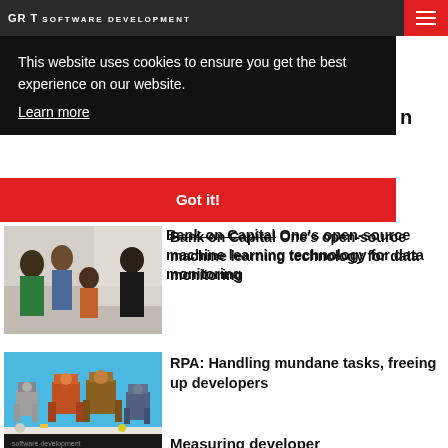GR T software development
This website uses cookies to ensure you get the best experience on our website.
Learn more
Got it!
[Figure (photo): Office workers or developers standing in a group, talking in an open workspace]
Bank on Capital One's open-source machine learning technology for data monitoring
[Figure (photo): Colorful toy robots on a blue background]
RPA: Handling mundane tasks, freeing up developers
[Figure (photo): Dark image, partially visible article thumbnail]
Measuring developer